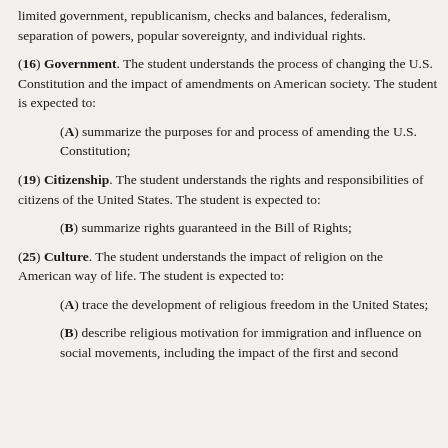limited government, republicanism, checks and balances, federalism, separation of powers, popular sovereignty, and individual rights.
(16) Government. The student understands the process of changing the U.S. Constitution and the impact of amendments on American society. The student is expected to:
(A) summarize the purposes for and process of amending the U.S. Constitution;
(19) Citizenship. The student understands the rights and responsibilities of citizens of the United States. The student is expected to:
(B) summarize rights guaranteed in the Bill of Rights;
(25) Culture. The student understands the impact of religion on the American way of life. The student is expected to:
(A) trace the development of religious freedom in the United States;
(B) describe religious motivation for immigration and influence on social movements, including the impact of the first and second Great Awakenings and the...